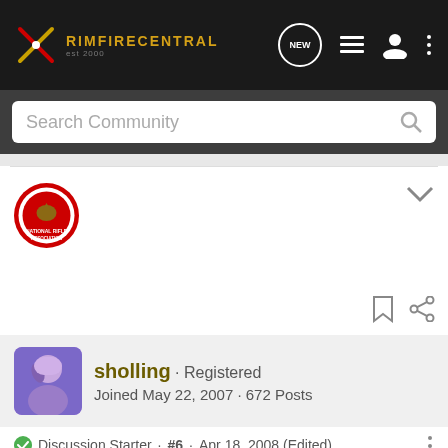RIMFIRECENTRAL
Search Community
[Figure (logo): NRA badge/logo circular emblem]
sholling · Registered
Joined May 22, 2007 · 672 Posts
Discussion Starter · #6 · Apr 18, 2008 (Edited)
Still another question. With the Fajen thumb hole sporter should I buy medium or high rings? This style. I mean as far as cheek weld and head position. The scope is going on a Volquartsen 1-Piece barrel mount Weaver style base. I'm planning on Burris